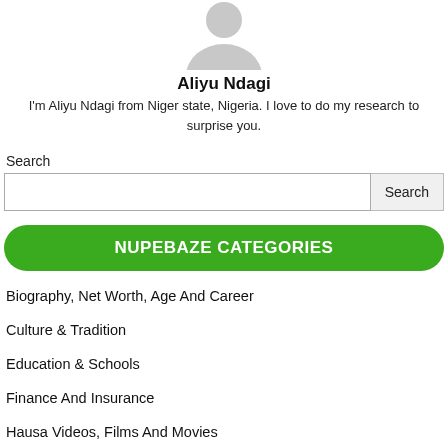[Figure (illustration): Gray silhouette avatar icon showing a person's head and shoulders outline]
Aliyu Ndagi
I'm Aliyu Ndagi from Niger state, Nigeria. I love to do my research to surprise you.
Search
[Figure (other): Search input box with a Search button]
NUPEBAZE CATEGORIES
Biography, Net Worth, Age And Career
Culture & Tradition
Education & Schools
Finance And Insurance
Hausa Videos, Films And Movies